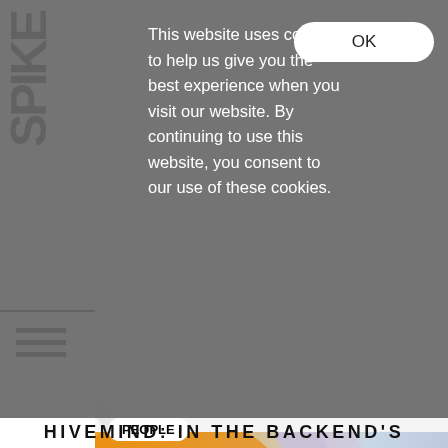[Figure (screenshot): SPIKE magazine website screenshot showing a cookie consent overlay on top of an article page. Left sidebar shows 'SPIKE' logo vertically and hamburger menu. The overlay shows a cookie consent message and OK button. Below is a colorful 3D digital art illustration for an article, with a 'PEOPLE' badge. The bottom shows article title beginning 'HIVEMIND: IN THE BACKEND'S'.]
This website uses cookies to help us give you the best experience when you visit our website. By continuing to use this website, you consent to our use of these cookies.
OK
PEOPLE
HIVEMIND: IN THE BACKEND'S